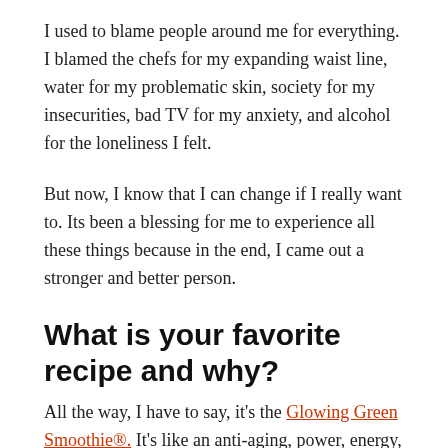I used to blame people around me for everything. I blamed the chefs for my expanding waist line, water for my problematic skin, society for my insecurities, bad TV for my anxiety, and alcohol for the loneliness I felt.
But now, I know that I can change if I really want to. Its been a blessing for me to experience all these things because in the end, I came out a stronger and better person.
What is your favorite recipe and why?
All the way, I have to say, it's the Glowing Green Smoothie®. It's like an anti-aging, power, energy,